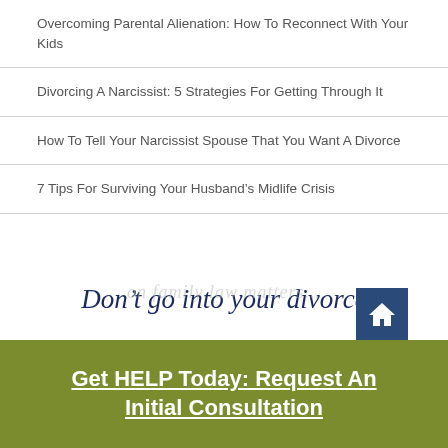Overcoming Parental Alienation: How To Reconnect With Your Kids
Divorcing A Narcissist: 5 Strategies For Getting Through It
How To Tell Your Narcissist Spouse That You Want A Divorce
7 Tips For Surviving Your Husband’s Midlife Crisis
Don’t go into your divorce
on family law matters...
Get HELP Today: Request An Initial Consultation